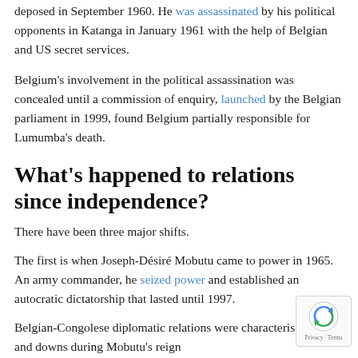deposed in September 1960. He was assassinated by his political opponents in Katanga in January 1961 with the help of Belgian and US secret services.
Belgium's involvement in the political assassination was concealed until a commission of enquiry, launched by the Belgian parliament in 1999, found Belgium partially responsible for Lumumba's death.
What's happened to relations since independence?
There have been three major shifts.
The first is when Joseph-Désiré Mobutu came to power in 1965. An army commander, he seized power and established an autocratic dictatorship that lasted until 1997.
Belgian-Congolese diplomatic relations were characterised by ups and downs during Mobutu's reign